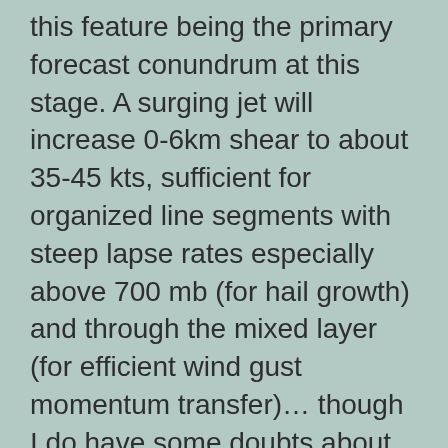this feature being the primary forecast conundrum at this stage. A surging jet will increase 0-6km shear to about 35-45 kts, sufficient for organized line segments with steep lapse rates especially above 700 mb (for hail growth) and through the mixed layer (for efficient wind gust momentum transfer)… though I do have some doubts about shear with the trough pivoting negatively and lifting best kinematics more northward